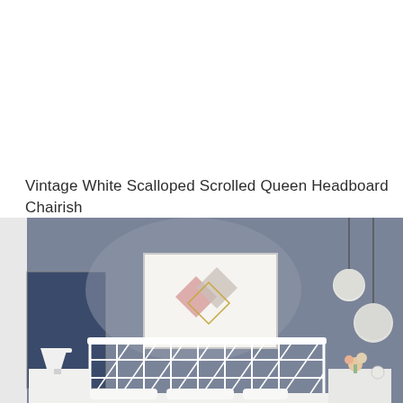Vintage White Scalloped Scrolled Queen Headboard Chairish
[Figure (photo): Bedroom scene with a blue-gray wall, a white metal queen bed with lattice headboard, two white nightstands with table lamps, a framed wall art with geometric diamond shapes in pink, beige, and gold, and two round pendant lights hanging from the ceiling on the right side.]